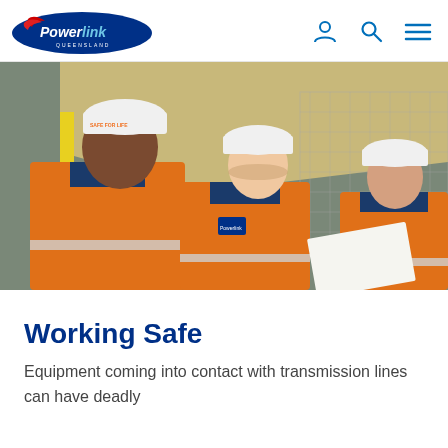[Figure (logo): Powerlink Queensland logo — blue oval with white 'Powerlink' text and red swoosh bird mark]
[Figure (photo): Three workers in orange high-visibility shirts and white hard hats reviewing a document at an outdoor electrical substation site. The worker in the foreground wears a hard hat labelled 'SAFE FOR LIFE'.]
Working Safe
Equipment coming into contact with transmission lines can have deadly